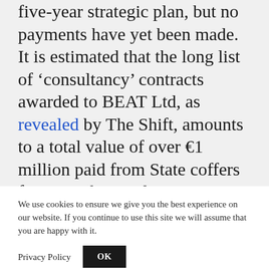five-year strategic plan, but no payments have yet been made.
It is estimated that the long list of ‘consultancy’ contracts awarded to BEAT Ltd, as revealed by The Shift, amounts to a total value of over €1 million paid from State coffers for more than 35 lucrative direct orders between 2013 and 2019.
We use cookies to ensure we give you the best experience on our website. If you continue to use this site we will assume that you are happy with it.
Privacy Policy
OK